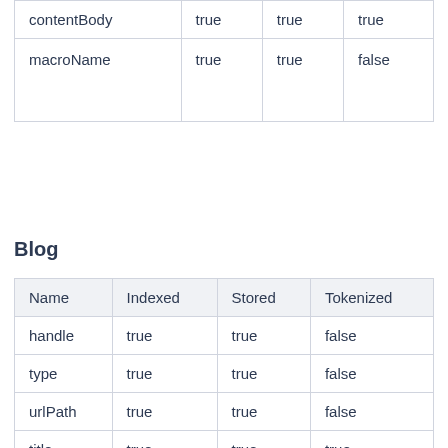| Name | Indexed | Stored | Tokenized |
| --- | --- | --- | --- |
| contentBody | true | true | true |
| macroName | true | true | false |
Blog
| Name | Indexed | Stored | Tokenized |
| --- | --- | --- | --- |
| handle | true | true | false |
| type | true | true | false |
| urlPath | true | true | false |
| title | true | true | true |